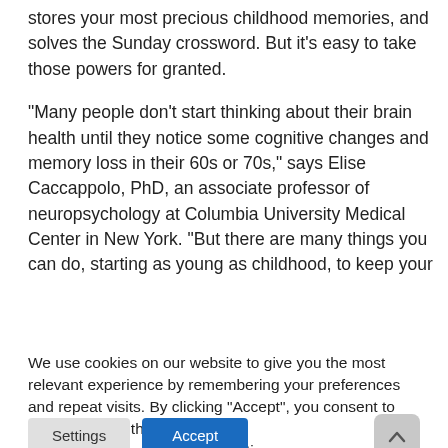stores your most precious childhood memories, and solves the Sunday crossword. But it's easy to take those powers for granted.
“Many people don’t start thinking about their brain health until they notice some cognitive changes and memory loss in their 60s or 70s,” says Elise Caccappolo, PhD, an associate professor of neuropsychology at Columbia University Medical Center in New York. “But there are many things you can do, starting as young as childhood, to keep your
We use cookies on our website to give you the most relevant experience by remembering your preferences and repeat visits. By clicking “Accept”, you consent to the use of ALL the cookies.
Do not sell my personal information.